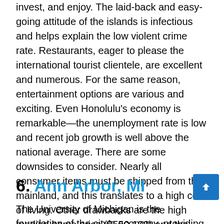invest, and enjoy. The laid-back and easy-going attitude of the islands is infectious and helps explain the low violent crime rate. Restaurants, eager to please the international tourist clientele, are excellent and numerous. For the same reason, entertainment options are various and exciting. Even Honolulu's economy is remarkable—the unemployment rate is low and recent job growth is well above the national average. There are some downsides to consider. Nearly all consumer items must be shipped from the mainland, and this translates to a high cost of living. Other drawbacks are the high median home price ($550,100) and the possible claustrophobia of living on a small island. But if you don't mind the cost and isolation of living far off the mainland, then Honolulu is a safe and beautiful place to live.
6. Ann Arbor, MI
The University of Michigan is the foundation of the city's economy, providing stable employment to many residents